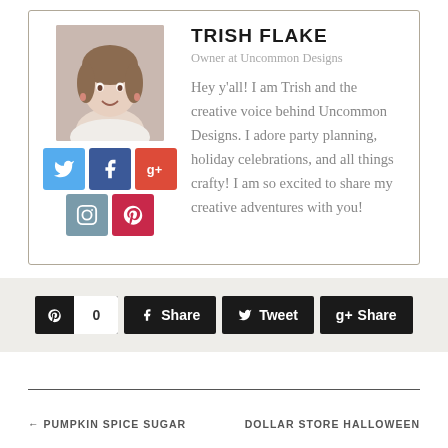TRISH FLAKE
Owner at Uncommon Designs
Hey y'all! I am Trish and the creative voice behind Uncommon Designs. I adore party planning, holiday celebrations, and all things crafty! I am so excited to share my creative adventures with you!
[Figure (infographic): Social share bar with Pinterest (0 saves), Facebook Share, Twitter Tweet, and Google+ Share buttons]
← PUMPKIN SPICE SUGAR
DOLLAR STORE HALLOWEEN